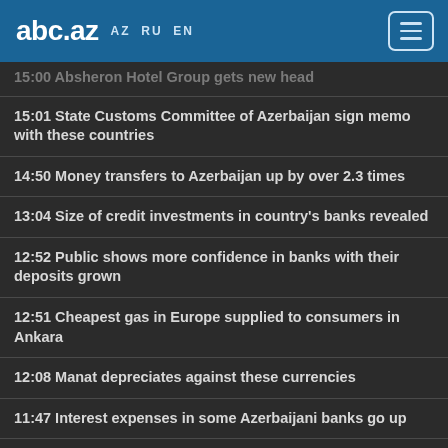abc.az AZ RU EN
15:00 Absheron Hotel Group gets new head
15:01 State Customs Committee of Azerbaijan sign memo with these countries
14:50 Money transfers to Azerbaijan up by over 2.3 times
13:04 Size of credit investments in country's banks revealed
12:52 Public shows more confidence in banks with their deposits grown
12:51 Cheapest gas in Europe supplied to consumers in Ankara
12:08 Manat depreciates against these currencies
11:47 Interest expenses in some Azerbaijani banks go up
11:36 Banks with reduced interest costs in Azerbaijan
11:11 Atabank's movable property put up for sale